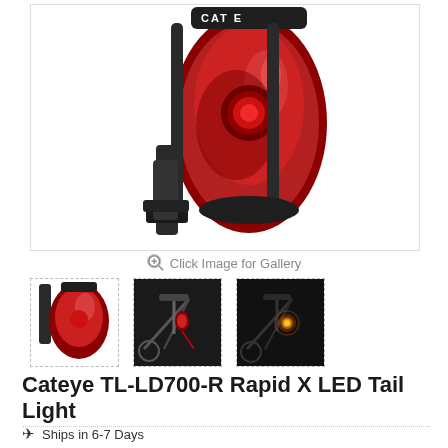[Figure (photo): Close-up product photo of a Cateye TL-LD700-R Rapid X LED Tail Light — a red translucent oval-shaped bicycle rear light with black mounting bracket, shown from front-rear angle. Brand name CATEYE visible on lens.]
Click Image for Gallery
[Figure (photo): Thumbnail 1: Close-up of the red Cateye tail light alone on white background]
[Figure (photo): Thumbnail 2: Cateye tail light mounted on bicycle seat post, side view in dark/grey background]
[Figure (photo): Thumbnail 3: Cateye tail light mounted on bicycle seat post, glowing orange/red LED visible, dark background]
Cateye TL-LD700-R Rapid X LED Tail Light
✈ Ships in 6-7 Days